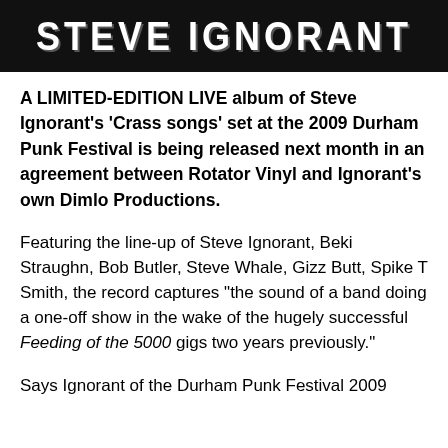[Figure (photo): Black banner with white distressed text reading 'STEVE IGNORANT' in large bold uppercase letters]
A LIMITED-EDITION LIVE album of Steve Ignorant's 'Crass songs' set at the 2009 Durham Punk Festival is being released next month in an agreement between Rotator Vinyl and Ignorant's own Dimlo Productions.
Featuring the line-up of Steve Ignorant, Beki Straughn, Bob Butler, Steve Whale, Gizz Butt, Spike T Smith, the record captures "the sound of a band doing a one-off show in the wake of the hugely successful Feeding of the 5000 gigs two years previously."
Says Ignorant of the Durham Punk Festival 2009